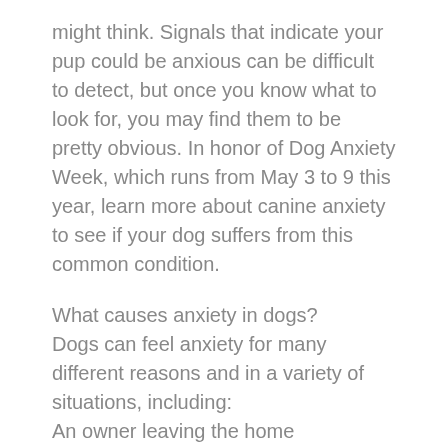might think. Signals that indicate your pup could be anxious can be difficult to detect, but once you know what to look for, you may find them to be pretty obvious. In honor of Dog Anxiety Week, which runs from May 3 to 9 this year, learn more about canine anxiety to see if your dog suffers from this common condition.
What causes anxiety in dogs?
Dogs can feel anxiety for many different reasons and in a variety of situations, including:
An owner leaving the home
A trip to the veterinarian, groomer, or boarding facility
A car ride
Thunderstorms